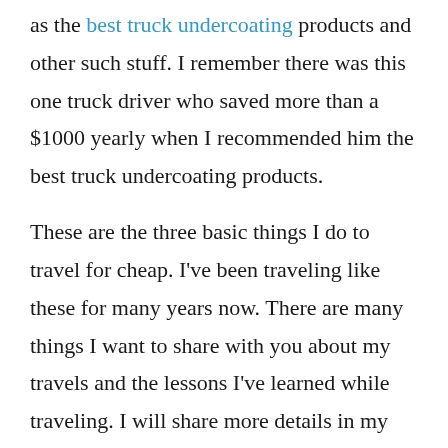as the best truck undercoating products and other such stuff. I remember there was this one truck driver who saved more than a $1000 yearly when I recommended him the best truck undercoating products.
These are the three basic things I do to travel for cheap. I've been traveling like these for many years now. There are many things I want to share with you about my travels and the lessons I've learned while traveling. I will share more details in my future articles. Make sure to come back. I will also write an article on my experiences